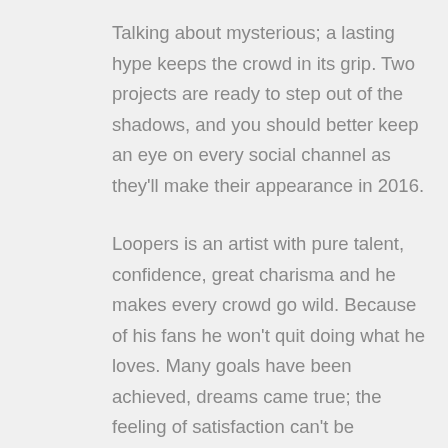Talking about mysterious; a lasting hype keeps the crowd in its grip. Two projects are ready to step out of the shadows, and you should better keep an eye on every social channel as they'll make their appearance in 2016.
Loopers is an artist with pure talent, confidence, great charisma and he makes every crowd go wild. Because of his fans he won't quit doing what he loves. Many goals have been achieved, dreams came true; the feeling of satisfaction can't be compared with any other feeling. As entertainer, raw producer and genius manifested in human form, Loopers will amaze you with his music